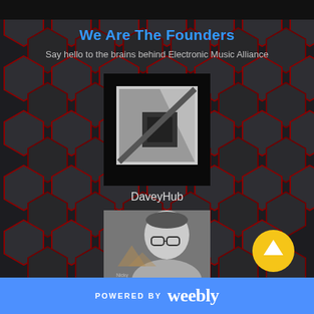We Are The Founders
Say hello to the brains behind Electronic Music Alliance
[Figure (photo): Profile photo placeholder for DaveyHub - a dark square with a geometric logo on a black background]
DaveyHub
[Figure (photo): Black and white photo of a young man with glasses, looking to the side, with mountain/nature watermark overlay]
[Figure (other): Yellow circular up-arrow button in bottom right]
POWERED BY weebly